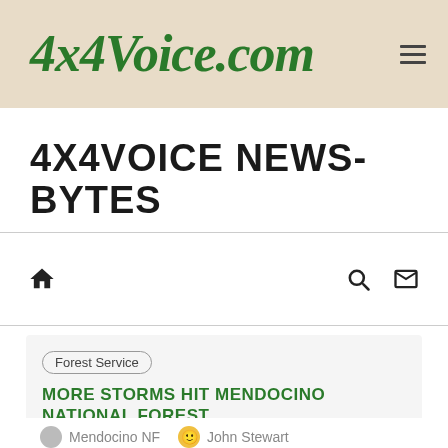4x4Voice.com
4X4VOICE NEWS-BYTES
[Figure (other): Navigation bar with home icon, search icon, and mail icon]
Forest Service
MORE STORMS HIT MENDOCINO NATIONAL FOREST
Mendocino NF  John Stewart